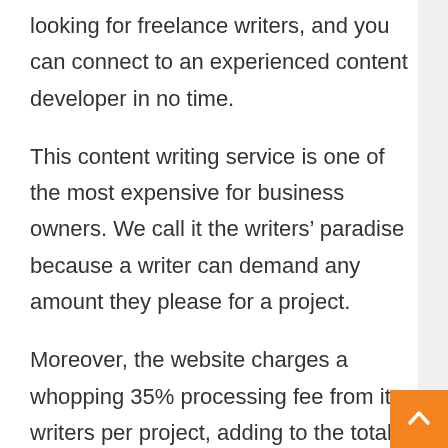looking for freelance writers, and you can connect to an experienced content developer in no time.
This content writing service is one of the most expensive for business owners. We call it the writers’ paradise because a writer can demand any amount they please for a project.
Moreover, the website charges a whopping 35% processing fee from its writers per project, adding to the total cost.
Constant Content is one of the most reliable writing platforms. It tests the competency and grammar skills of each writer before they can register on the site. But readers...